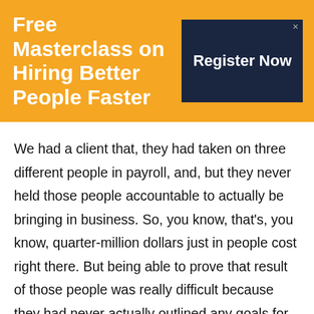Free Masterclass on Hiring Better People Faster
Register Now
We had a client that, they had taken on three different people in payroll, and, but they never held those people accountable to actually be bringing in business. So, you know, that's, you know, quarter-million dollars just in people cost right there. But being able to prove that result of those people was really difficult because they had never actually outlined any goals for them. So, you know, Dave Ramsey, I'm a big fan of Dave Ramsey, and he talks about how money is